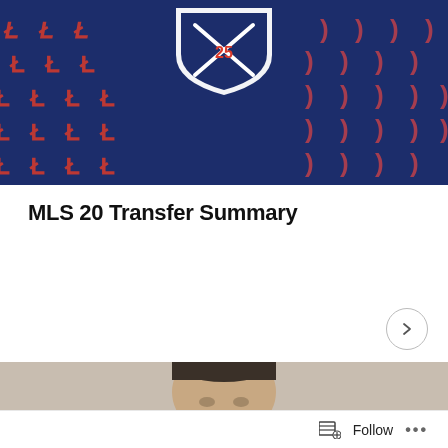[Figure (illustration): MLS 25th anniversary banner header with dark navy blue background, red and white decorative letter/number patterns on left and right sides, and a central shield logo with crossed baseball bats and '25' anniversary mark]
MLS 20 Transfer Summary
[Figure (photo): Close-up photo of a male athlete's face and head, cropped at forehead level, on a beige/tan background]
Follow ...